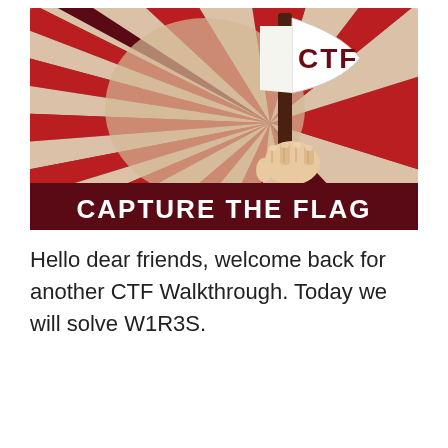[Figure (illustration): A stylized propaganda-poster illustration with a dark maroon background. Radiating red and cream/beige rays fill the background. A hand grips a flagpole holding a white flag with 'CTF' written in bold dark maroon letters. At the bottom of the image, a dark maroon banner contains bold white text reading 'CAPTURE THE FLAG'.]
Hello dear friends, welcome back for another CTF Walkthrough. Today we will solve W1R3S.